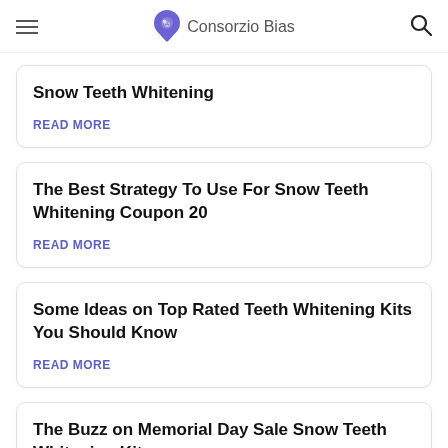Consorzio Bias
Snow Teeth Whitening
READ MORE
The Best Strategy To Use For Snow Teeth Whitening Coupon 20
READ MORE
Some Ideas on Top Rated Teeth Whitening Kits You Should Know
READ MORE
The Buzz on Memorial Day Sale Snow Teeth Whitening Kit